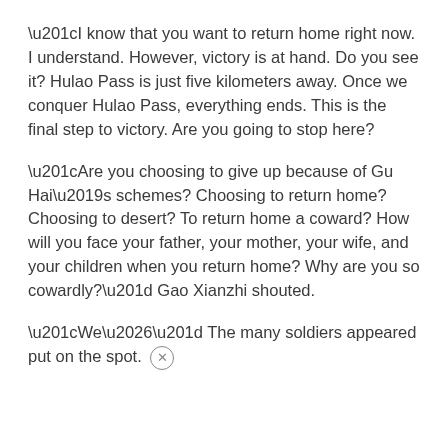“I know that you want to return home right now. I understand. However, victory is at hand. Do you see it? Hulao Pass is just five kilometers away. Once we conquer Hulao Pass, everything ends. This is the final step to victory. Are you going to stop here?
“Are you choosing to give up because of Gu Hai’s schemes? Choosing to return home? Choosing to desert? To return home a coward? How will you face your father, your mother, your wife, and your children when you return home? Why are you so cowardly?” Gao Xianzhi shouted.
“We…” The many soldiers appeared put on the spot.